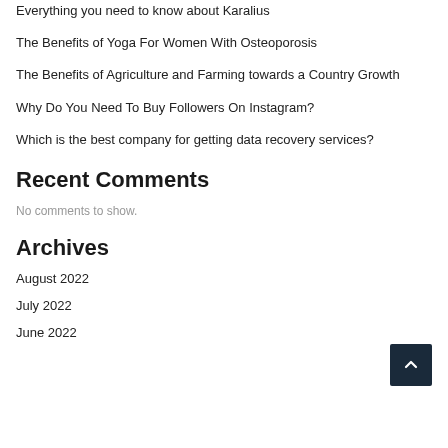Everything you need to know about Karalius
The Benefits of Yoga For Women With Osteoporosis
The Benefits of Agriculture and Farming towards a Country Growth
Why Do You Need To Buy Followers On Instagram?
Which is the best company for getting data recovery services?
Recent Comments
No comments to show.
Archives
August 2022
July 2022
June 2022